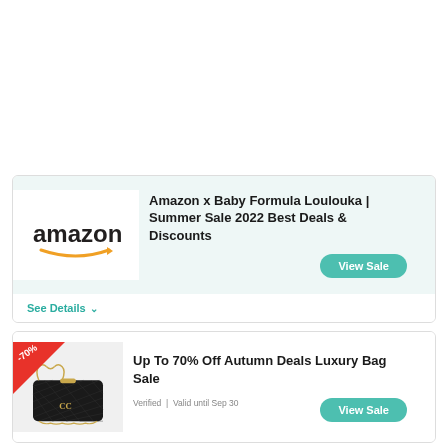[Figure (infographic): Amazon logo with orange smile/arrow underneath the text 'amazon']
Amazon x Baby Formula Loulouka | Summer Sale 2022 Best Deals & Discounts
View Sale
See Details ∨
[Figure (photo): Black quilted Chanel-style luxury handbag with gold chain strap, with a red -70% discount badge in top-left corner]
Up To 70% Off Autumn Deals Luxury Bag Sale
View Sale
Verified | Valid until Sep 30